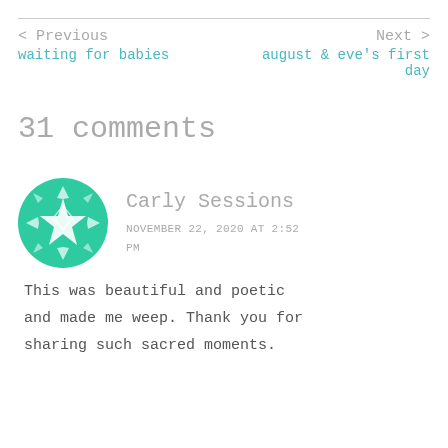< Previous | Next >
waiting for babies
august & eve's first day
31 comments
Carly Sessions
NOVEMBER 22, 2020 AT 2:52 PM
This was beautiful and poetic and made me weep. Thank you for sharing such sacred moments.